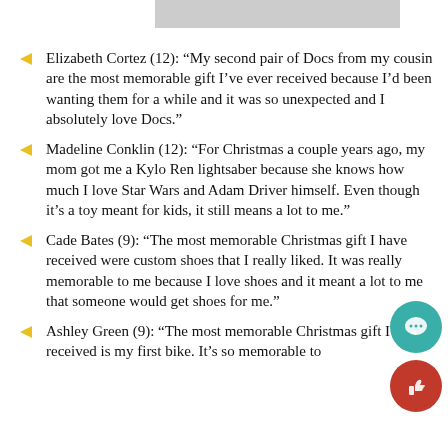Elizabeth Cortez (12): “My second pair of Docs from my cousin are the most memorable gift I’ve ever received because I’d been wanting them for a while and it was so unexpected and I absolutely love Docs.”
Madeline Conklin (12): “For Christmas a couple years ago, my mom got me a Kylo Ren lightsaber because she knows how much I love Star Wars and Adam Driver himself. Even though it’s a toy meant for kids, it still means a lot to me.”
Cade Bates (9): “The most memorable Christmas gift I have received were custom shoes that I really liked. It was really memorable to me because I love shoes and it meant a lot to me that someone would get shoes for me.”
Ashley Green (9): “The most memorable Christmas gift I’ve received is my first bike. It’s so memorable to